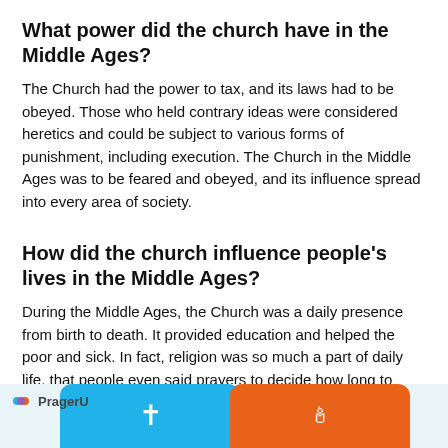What power did the church have in the Middle Ages?
The Church had the power to tax, and its laws had to be obeyed. Those who held contrary ideas were considered heretics and could be subject to various forms of punishment, including execution. The Church in the Middle Ages was to be feared and obeyed, and its influence spread into every area of society.
How did the church influence people’s lives in the Middle Ages?
During the Middle Ages, the Church was a daily presence from birth to death. It provided education and helped the poor and sick. In fact, religion was so much a part of daily life, that people even said prayers to decide how long to cook an egg!
[Figure (logo): PragerU logo with blue and orange rounded arch shapes at the bottom of the page]